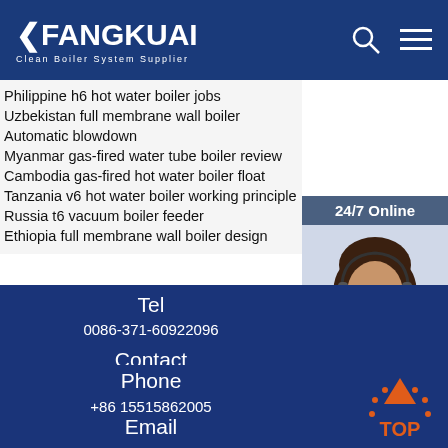FANGKUAI Clean Boiler System Supplier
Philippine h6 hot water boiler jobs
Uzbekistan full membrane wall boiler Automatic blowdown
Myanmar gas-fired water tube boiler review
Cambodia gas-fired hot water boiler float
Tanzania v6 hot water boiler working principle
Russia t6 vacuum boiler feeder
Ethiopia full membrane wall boiler design
[Figure (photo): Customer service agent wearing headset, smiling, with 24/7 Online banner and Click here for free chat text and QUOTATION button]
Tel
0086-371-60922096
Contact
Manager Guo
Phone
+86 15515862005
Email